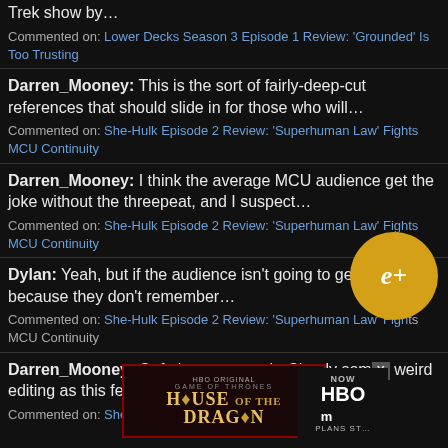Trek show by…
Commented on: Lower Decks Season 3 Episode 1 Review: 'Grounded' Is Too Trusting
Darren_Mooney: This is the sort of fairly-deep-cut references that should slide in for those who will…
Commented on: She-Hulk Episode 2 Review: 'Superhuman Law' Fights MCU Continuity
Darren_Mooney: I think the average MCU audience get the joke without the threepeat, and I suspect…
Commented on: She-Hulk Episode 2 Review: 'Superhuman Law' Fights MCU Continuity
Dylan: Yeah, but if the audience isn't going to get the gag because they don't remember…
Commented on: She-Hulk Episode 2 Review: 'Superhuman Law' Fights MCU Continuity
Darren_Mooney: Oof, that was rough. Clearly some weird editing as this feels like bits
Commented on: She-Hulk Episode 2 Review: 'Superhuman Law' Fights MCU